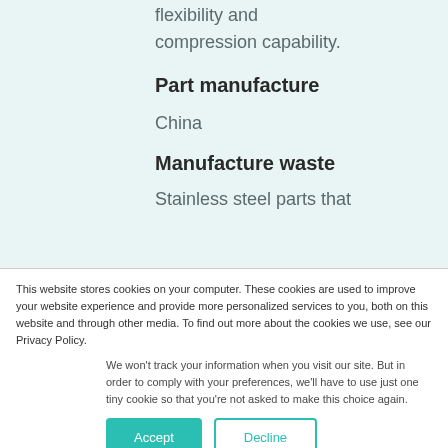flexibility and compression capability.
Part manufacture
China
Manufacture waste
Stainless steel parts that
This website stores cookies on your computer. These cookies are used to improve your website experience and provide more personalized services to you, both on this website and through other media. To find out more about the cookies we use, see our Privacy Policy.
We won't track your information when you visit our site. But in order to comply with your preferences, we'll have to use just one tiny cookie so that you're not asked to make this choice again.